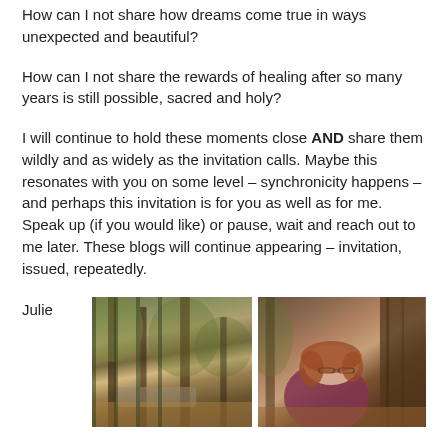How can I not share how dreams come true in ways unexpected and beautiful?
How can I not share the rewards of healing after so many years is still possible, sacred and holy?
I will continue to hold these moments close AND share them wildly and as widely as the invitation calls. Maybe this resonates with you on some level – synchronicity happens – and perhaps this invitation is for you as well as for me. Speak up (if you would like) or pause, wait and reach out to me later. These blogs will continue appearing – invitation, issued, repeatedly.
Julie
[Figure (photo): Outdoor nature photo collage showing trees and autumn foliage in a wooded setting, alongside a photo of a woman with reddish hair wearing a purple/maroon sweater, outdoors among trees.]